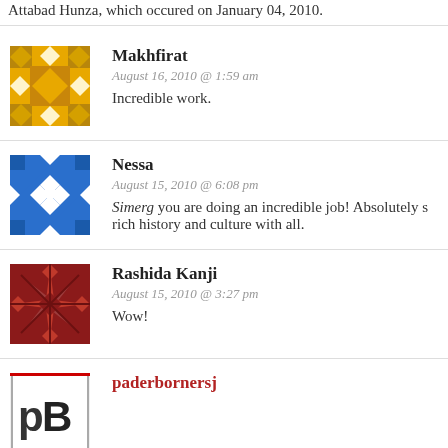Attabad Hunza, which occured on January 04, 2010.
[Figure (illustration): Golden/yellow decorative tile avatar for user Makhfirat]
Makhfirat
August 16, 2010 @ 1:59 am
Incredible work.
[Figure (illustration): Blue decorative tile avatar for user Nessa]
Nessa
August 15, 2010 @ 6:08 pm
Simerg you are doing an incredible job! Absolutely s rich history and culture with all.
[Figure (illustration): Dark red/brown decorative tile avatar for user Rashida Kanji]
Rashida Kanji
August 15, 2010 @ 3:27 pm
Wow!
[Figure (illustration): Avatar image for user paderbornersj]
paderbornersj